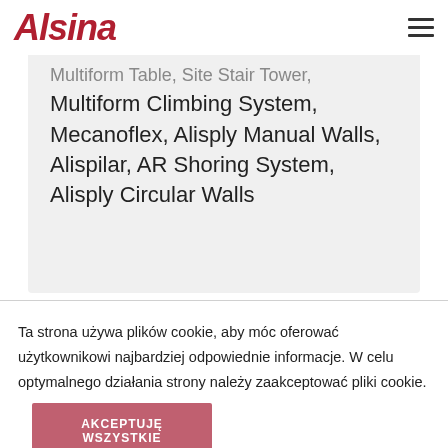Alsina
Multiform Table, Site Stair Tower, Multiform Climbing System, Mecanoflex, Alisply Manual Walls, Alispilar, AR Shoring System, Alisply Circular Walls
Ta strona używa plików cookie, aby móc oferować użytkownikowi najbardziej odpowiednie informacje. W celu optymalnego działania strony należy zaakceptować pliki cookie.
AKCEPTUJĘ WSZYSTKIE
Ustawienia plików cookie
Więcej informacji